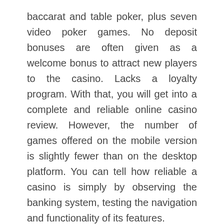baccarat and table poker, plus seven video poker games. No deposit bonuses are often given as a welcome bonus to attract new players to the casino. Lacks a loyalty program. With that, you will get into a complete and reliable online casino review. However, the number of games offered on the mobile version is slightly fewer than on the desktop platform. You can tell how reliable a casino is simply by observing the banking system, testing the navigation and functionality of its features.
4 6/5 BetMGM Casino Review
And, of course, no one canceled the classic bank transfers. The most respected and utilized wagering sites all offer bonus rewards and special promotions. From specific questions about the KYC process imposed by the UKGC to all UK licensed online Casinos to more generic ones about games and strategy, we put each and every support service to test. Brazil has taken steps towards